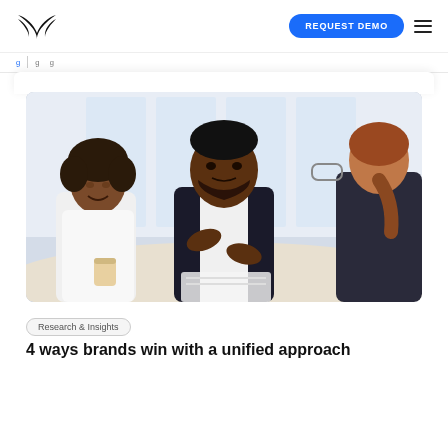REQUEST DEMO
Research & Insights
[Figure (photo): Business meeting: a Black man in a dark blazer gestures with his hands while speaking to colleagues at a table, including a smiling Black woman in white and a woman with brown hair seen from behind. Office setting with large windows.]
Research & Insights
4 ways brands win with a unified approach